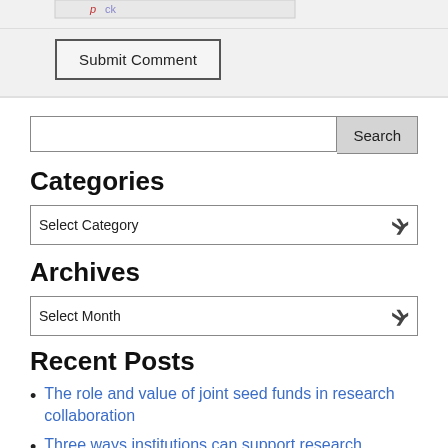[Figure (screenshot): Partial view of a CAPTCHA or image at the top of the page, partially cropped]
Submit Comment
[Figure (screenshot): Search input field with Search button]
Categories
[Figure (screenshot): Select Category dropdown]
Archives
[Figure (screenshot): Select Month dropdown]
Recent Posts
The role and value of joint seed funds in research collaboration
Three ways institutions can support research partnerships